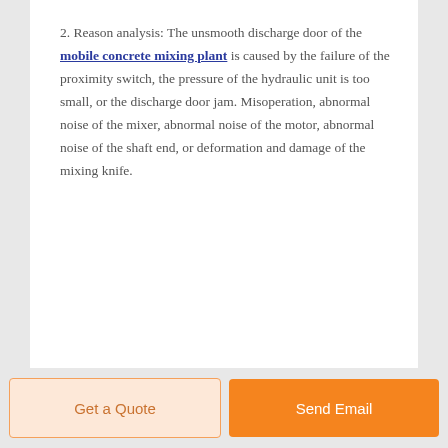2. Reason analysis: The unsmooth discharge door of the mobile concrete mixing plant is caused by the failure of the proximity switch, the pressure of the hydraulic unit is too small, or the discharge door jam. Misoperation, abnormal noise of the mixer, abnormal noise of the motor, abnormal noise of the shaft end, or deformation and damage of the mixing knife.
Get a Quote | Send Email